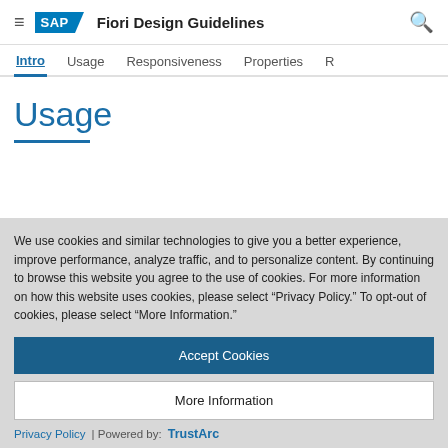SAP Fiori Design Guidelines
Intro | Usage | Responsiveness | Properties | R
Usage
We use cookies and similar technologies to give you a better experience, improve performance, analyze traffic, and to personalize content. By continuing to browse this website you agree to the use of cookies. For more information on how this website uses cookies, please select “Privacy Policy.” To opt-out of cookies, please select “More Information.”
Accept Cookies
More Information
Privacy Policy | Powered by: TrustArc
value. The resizing behavior depends on the settings that